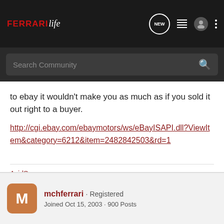FerrariLife — NEW, list, user, more icons navigation bar
Search Community
to ebay it wouldn't make you as much as if you sold it out right to a buyer.
http://cgi.ebay.com/ebaymotors/ws/eBayISAPI.dll?ViewItem&category=6212&item=2482842503&rd=1
AvidSquare
mchferrari · Registered
Joined Oct 15, 2003 · 900 Posts